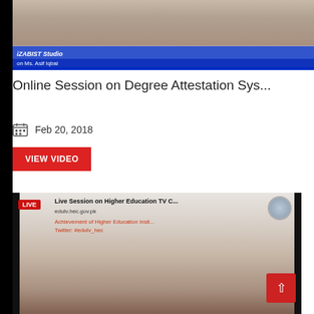[Figure (screenshot): Video thumbnail showing a woman in red clothing sitting behind a laptop at a news desk with a blue banner and text 'iZABIST Studio' and subtitle text below]
Online Session on Degree Attestation Sys...
Feb 20, 2018
VIEW VIDEO
[Figure (screenshot): Live video thumbnail showing a woman with dark hair sitting at a desk with a laptop, with 'LIVE' badge and banner text 'Live Session on Higher Education TV C... edutv.hec.gov.pk Achievement of Higher Education Insti... Twitter: #edutv_hec']